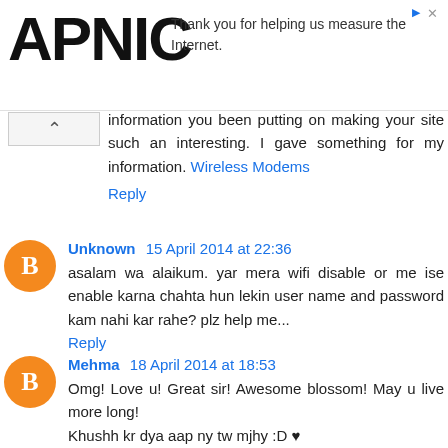[Figure (logo): APNIC logo with ad banner text: Thank you for helping us measure the Internet.]
information you been putting on making your site such an interesting. I gave something for my information. Wireless Modems
Reply
Unknown 15 April 2014 at 22:36
asalam wa alaikum. yar mera wifi disable or me ise enable karna chahta hun lekin user name and password kam nahi kar rahe? plz help me...
Reply
Mehma 18 April 2014 at 18:53
Omg! Love u! Great sir! Awesome blossom! May u live more long!
Khushh kr dya aap ny tw mjhy :D ♥
Reply